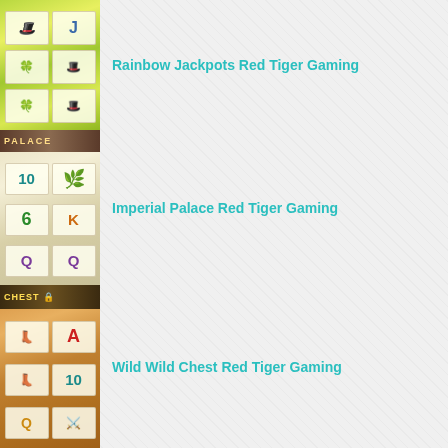[Figure (screenshot): Rainbow Jackpots slot game thumbnail showing reels with green symbols, J cards, and lucky hat symbols on a green/gold background]
Rainbow Jackpots Red Tiger Gaming
[Figure (screenshot): Imperial Palace slot game thumbnail showing reels with 10, K, Q card symbols in purple, green, and orange on a cream/gold background with PALACE title banner]
Imperial Palace Red Tiger Gaming
[Figure (screenshot): Wild Wild Chest slot game thumbnail showing reels with A, 10, Q symbols in red, blue, and gold on a western-themed background with CHEST title banner]
Wild Wild Chest Red Tiger Gaming